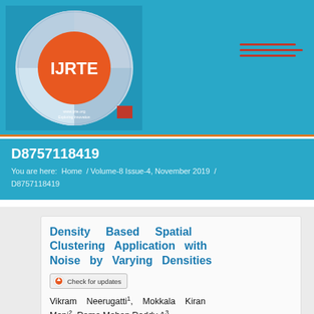[Figure (logo): IJRTE journal logo - circular badge with orange circle and IJRTE text]
D8757118419
You are here:  Home  /  Volume-8 Issue-4, November 2019  /  D8757118419
Density Based Spatial Clustering Application with Noise by Varying Densities
Check for updates
Vikram Neerugatti¹, Mokkala Kiran Moni², Rama Mohan Reddy A³
¹VikramNeerugatti,Department of CSE, Sri